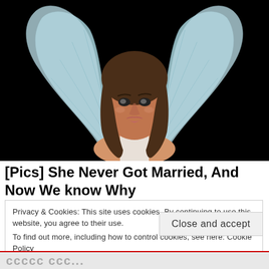[Figure (photo): Woman with angel wings against black background, wearing white, with long brown hair]
[Pics] She Never Got Married, And Now We know Why
Privacy & Cookies: This site uses cookies. By continuing to use this website, you agree to their use.
To find out more, including how to control cookies, see here: Cookie Policy
Close and accept